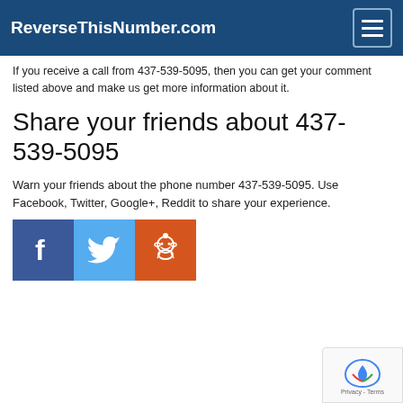ReverseThisNumber.com
If you receive a call from 437-539-5095, then you can get your comment listed above and make us get more information about it.
Share your friends about 437-539-5095
Warn your friends about the phone number 437-539-5095. Use Facebook, Twitter, Google+, Reddit to share your experience.
[Figure (infographic): Social sharing icons: Facebook (blue), Twitter (light blue), Reddit (orange)]
[Figure (other): reCAPTCHA widget with Privacy - Terms label]